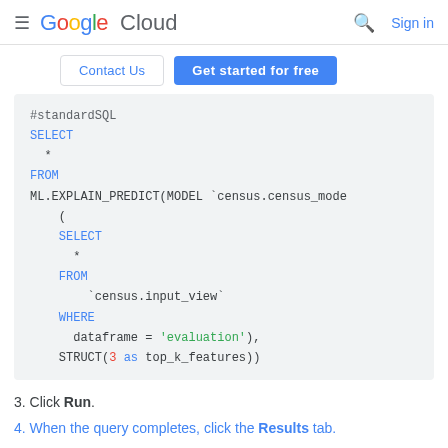Google Cloud  Search  Sign in
Contact Us   Get started for free
[Figure (screenshot): Code block showing SQL query: #standardSQL SELECT * FROM ML.EXPLAIN_PREDICT(MODEL `census.census_mode` ( SELECT * FROM `census.input_view` WHERE dataframe = 'evaluation'), STRUCT(3 as top_k_features))]
3. Click Run.
4. When the query completes, click the Results tab.